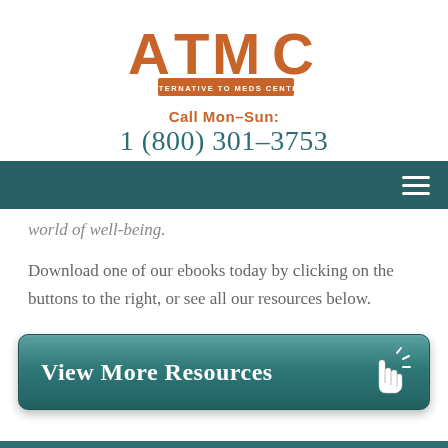[Figure (logo): ATMC - Alternative to Meds Center logo with stylized letters and orange/teal color scheme]
Call Mon-Sun:
1 (800) 301-3753
[Figure (other): Teal navigation bar with hamburger menu icon on the right]
world of well-being.
Download one of our ebooks today by clicking on the buttons to the right, or see all our resources below.
[Figure (other): Teal button labeled 'View More Resources' with a pointing hand cursor icon on the right]